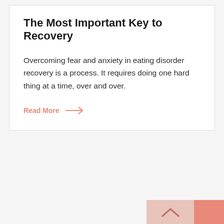The Most Important Key to Recovery
Overcoming fear and anxiety in eating disorder recovery is a process. It requires doing one hard thing at a time, over and over.
Read More →